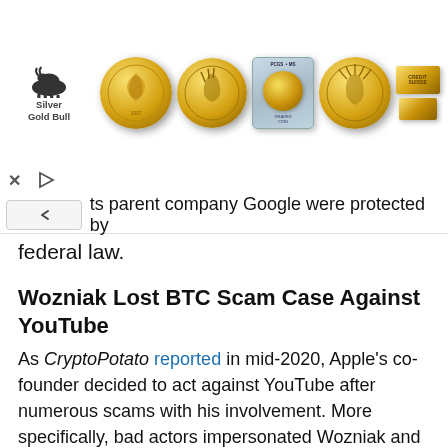[Figure (photo): Silver Gold Bull advertisement banner showing multiple gold coins and gold bars. Logo with bull icon on left, followed by various gold coins (Liberty Head, Buffalo, slabbed coin in PCGS holder, Indian Head) and gold bars on right.]
ts parent company Google were protected by federal law.
Wozniak Lost BTC Scam Case Against YouTube
As CryptoPotato reported in mid-2020, Apple's co-founder decided to act against YouTube after numerous scams with his involvement. More specifically, bad actors impersonated Wozniak and promoted false bitcoin giveaways on YouTube, which targeted countless victims.
Wozniak hired the law firm Cotchett, Pitre & McCarthy to open a lawsuit against the world's largest video-